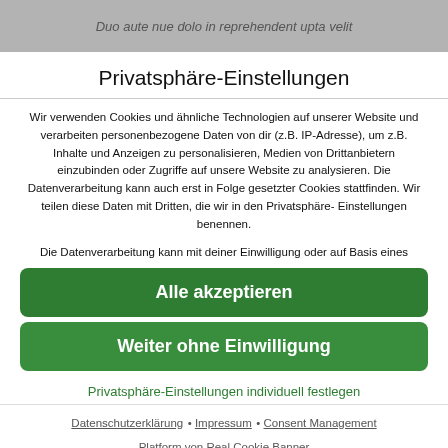Duo aute nue dolo in reprehendent upta velit
Privatsphäre-Einstellungen
Wir verwenden Cookies und ähnliche Technologien auf unserer Website und verarbeiten personenbezogene Daten von dir (z.B. IP-Adresse), um z.B. Inhalte und Anzeigen zu personalisieren, Medien von Drittanbietern einzubinden oder Zugriffe auf unsere Website zu analysieren. Die Datenverarbeitung kann auch erst in Folge gesetzter Cookies stattfinden. Wir teilen diese Daten mit Dritten, die wir in den Privatsphäre-Einstellungen benennen.
Die Datenverarbeitung kann mit deiner Einwilligung oder auf Basis eines
Alle akzeptieren
Weiter ohne Einwilligung
Privatsphäre-Einstellungen individuell festlegen
Datenschutzerklärung · Impressum · Consent Management Platform von Real Cookie Banner